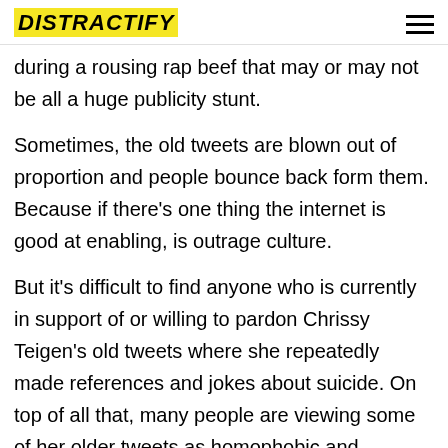DISTRACTIFY
during a rousing rap beef that may or may not be all a huge publicity stunt.
Sometimes, the old tweets are blown out of proportion and people bounce back form them. Because if there's one thing the internet is good at enabling, is outrage culture.
But it's difficult to find anyone who is currently in support of or willing to pardon Chrissy Teigen's old tweets where she repeatedly made references and jokes about suicide. On top of all that, many people are viewing some of her older tweets as homophobic and transphobic.
We've listed some of the older tweets here, that the